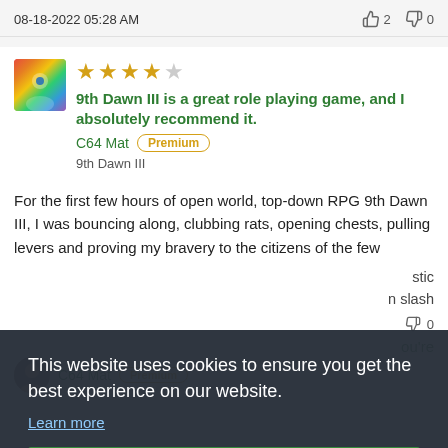08-18-2022 05:28 AM   👍 2   👎 0
9th Dawn III is a great role playing game, and I absolutely recommend it.
C64 Mat  Premium
9th Dawn III
For the first few hours of open world, top-down RPG 9th Dawn III, I was bouncing along, clubbing rats, opening chests, pulling levers and proving my bravery to the citizens of the few ...stic ...n slash
This website uses cookies to ensure you get the best experience on our website.
Learn more
Got it!
...u're
C64 Mat  Premium